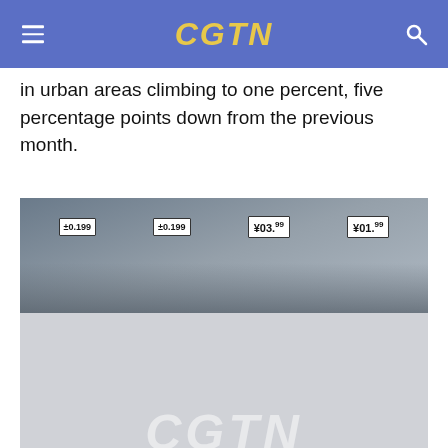CGTN
in urban areas climbing to one percent, five percentage points down from the previous month.
[Figure (photo): Consumers buying vegetables at price-tag-displaying market stalls in a supermarket in Yantai, Shandong, China. Price tags visible showing ¥0.199, ¥0.399, ¥0.199. CGTN watermark overlaid on bottom half.]
Consumers buy vegetables in a supermarket in Yantai, Shandong, China on March 10, 2020. /VCG
Meanwhile, in the first three months, the country's total retail sales of consumer